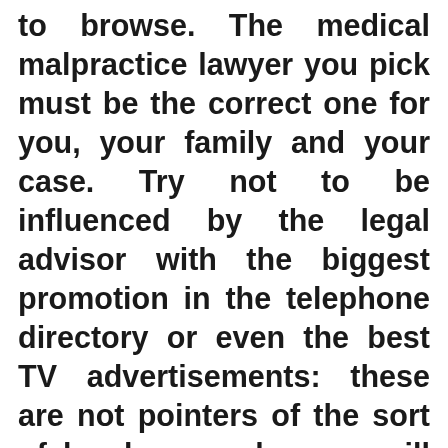to browse. The medical malpractice lawyer you pick must be the correct one for you, your family and your case. Try not to be influenced by the legal advisor with the biggest promotion in the telephone directory or even the best TV advertisements: these are not pointers of the sort of legal counselor you will get – indeed, these attorneys ordinarily allude their cases to different attorneys. It would be not difficult to locate the ideal medical malpractice lawyer to accommodate your particular